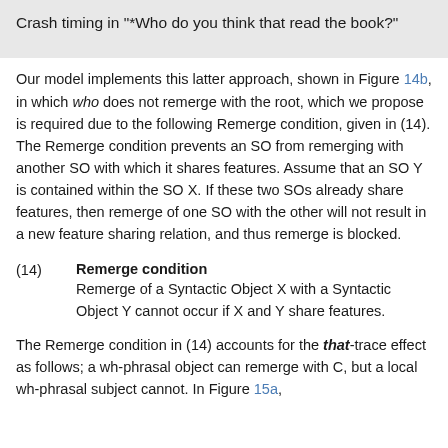Crash timing in "*Who do you think that read the book?"
Our model implements this latter approach, shown in Figure 14b, in which who does not remerge with the root, which we propose is required due to the following Remerge condition, given in (14). The Remerge condition prevents an SO from remerging with another SO with which it shares features. Assume that an SO Y is contained within the SO X. If these two SOs already share features, then remerge of one SO with the other will not result in a new feature sharing relation, and thus remerge is blocked.
(14) Remerge condition — Remerge of a Syntactic Object X with a Syntactic Object Y cannot occur if X and Y share features.
The Remerge condition in (14) accounts for the that-trace effect as follows; a wh-phrasal object can remerge with C, but a local wh-phrasal subject cannot. In Figure 15a,